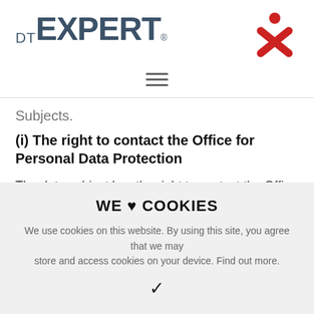DT EXPERT® [logo with red X figure icon]
Subjects.
(i) The right to contact the Office for Personal Data Protection
The data subject has the right to contact the Office for Personal Data Protection (https://www.uoou.cz/).
WE ♥ COOKIES
We use cookies on this website. By using this site, you agree that we may store and access cookies on your device. Find out more.